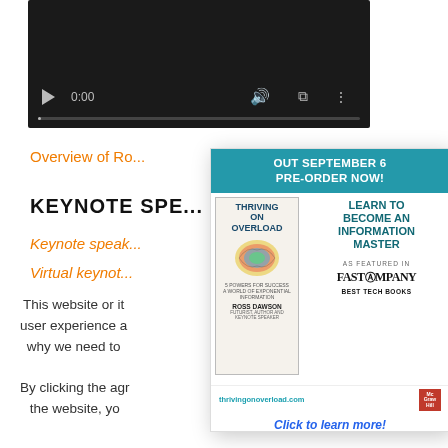[Figure (screenshot): Video player with dark background, play button, 0:00 timestamp, volume icon, fullscreen icon, more options icon, and progress bar]
Overview of Ro...
KEYNOTE SPE...
Keynote speak...
Virtual keynot...
This website or it... user experience a... why we need to...
By clicking the agr... the website, yo...
[Figure (screenshot): Popup advertisement for 'Thriving on Overload' book by Ross Dawson. Header says 'OUT SEPTEMBER 6 PRE-ORDER NOW!' with teal background. Book cover shown with brain graphic. Text says 'LEARN TO BECOME AN INFORMATION MASTER'. Featured in Fast Company Best Tech Books. Website: thrivingonoverload.com. CLOSE button top right. Click to learn more! link at bottom.]